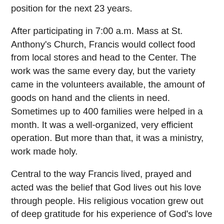position for the next 23 years.
After participating in 7:00 a.m. Mass at St. Anthony's Church, Francis would collect food from local stores and head to the Center. The work was the same every day, but the variety came in the volunteers available, the amount of goods on hand and the clients in need. Sometimes up to 400 families were helped in a month. It was a well-organized, very efficient operation. But more than that, it was a ministry, work made holy.
Central to the way Francis lived, prayed and acted was the belief that God lives out his love through people. His religious vocation grew out of deep gratitude for his experience of God's love through his family. He came to understand God's love as overwhelming, embracing and uniting us all. In his own self-effacing way, Francis strove to